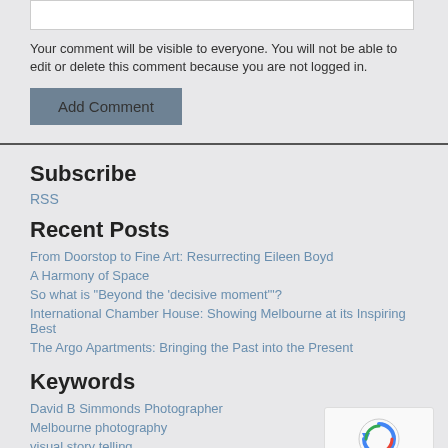Your comment will be visible to everyone. You will not be able to edit or delete this comment because you are not logged in.
Add Comment
Subscribe
RSS
Recent Posts
From Doorstop to Fine Art: Resurrecting Eileen Boyd
A Harmony of Space
So what is "Beyond the 'decisive moment'"?
International Chamber House: Showing Melbourne at its Inspiring Best
The Argo Apartments: Bringing the Past into the Present
Keywords
David B Simmonds Photographer
Melbourne photography
visual story telling
Eileen Boyd